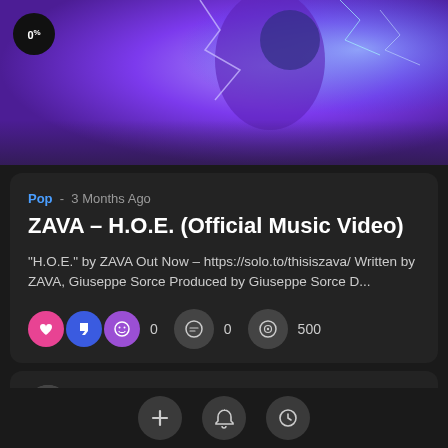[Figure (illustration): Purple/blue abstract digital art hero image with lightning effects and a figure, with a black circular badge showing '0%' in top left corner]
Pop - 3 Months Ago
ZAVA – H.O.E. (Official Music Video)
"H.O.E." by ZAVA Out Now – https://solo.to/thisiszava/ Written by ZAVA, Giuseppe Sorce Produced by Giuseppe Sorce D...
0  0  500
Cmadmin
+ bell clock